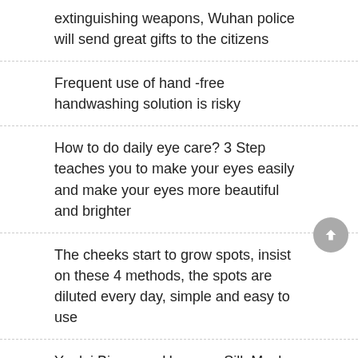extinguishing weapons, Wuhan police will send great gifts to the citizens
Frequent use of hand -free handwashing solution is risky
How to do daily eye care? 3 Step teaches you to make your eyes easily and make your eyes more beautiful and brighter
The cheeks start to grow spots, insist on these 4 methods, the spots are diluted every day, simple and easy to use
Yuelei Bingquan Huanyan Silk Mask: Moisturizing and removing yellow brightening